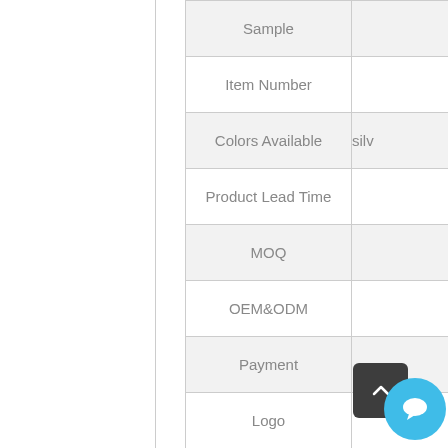|  |  |
| --- | --- |
| Sample |  |
| Item Number |  |
| Colors Available | silv |
| Product Lead Time |  |
| MOQ |  |
| OEM&ODM |  |
| Payment |  |
| Logo |  |
| Package |  |